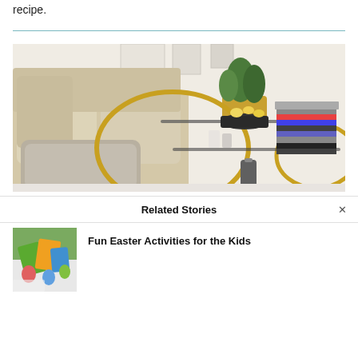recipe.
[Figure (photo): Living room scene with a gold bar cart holding a plant, popcorn, DVDs, and candles next to a cream sofa with fluffy rug]
Related Stories
[Figure (photo): Thumbnail of Easter activities for kids]
Fun Easter Activities for the Kids